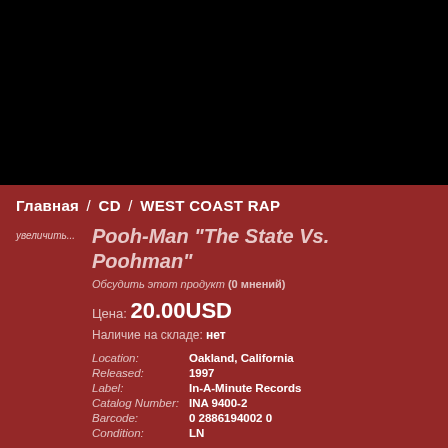[Figure (photo): Black area at top representing product image area (dark/blacked out)]
Главная / CD / WEST COAST RAP
увеличить...
Pooh-Man "The State Vs. Poohman"
Обсудить этот продукт (0 мнений)
Цена: 20.00USD
Наличие на складе: нет
| Field | Value |
| --- | --- |
| Location: | Oakland, California |
| Released: | 1997 |
| Label: | In-A-Minute Records |
| Catalog Number: | INA 9400-2 |
| Barcode: | 0 2886194002 0 |
| Condition: | LN |